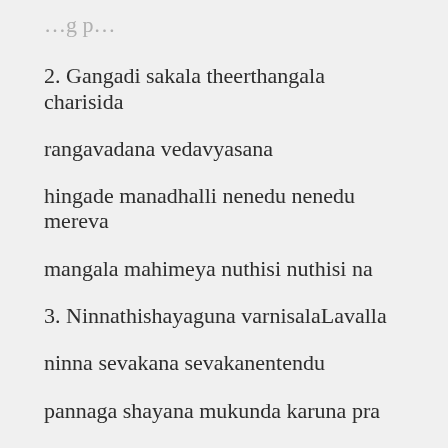2. Gangadi sakala theerthangala charisida
rangavadana vedavyasana
hingade manadhalli nenedu nenedu mereva
mangala mahimeya nuthisi nuthisi na
3. Ninnathishayaguna varnisalaLavalla
ninna sevakana sevakanentendu
pannaga shayana mukunda karuna pra